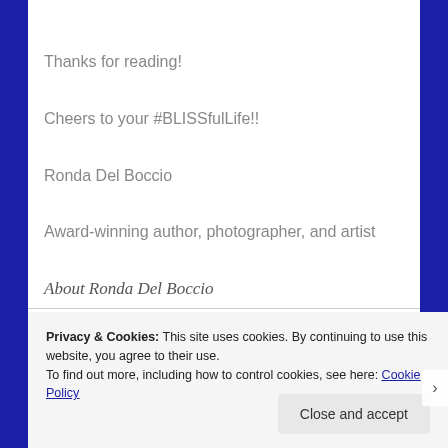Thanks for reading!
Cheers to your #BLISSfulLife!!
Ronda Del Boccio
Award-winning author, photographer, and artist
About Ronda Del Boccio
Privacy & Cookies: This site uses cookies. By continuing to use this website, you agree to their use.
To find out more, including how to control cookies, see here: Cookie Policy
Close and accept